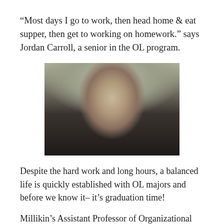“Most days I go to work, then head home & eat supper, then get to working on homework.” says Jordan Carroll, a senior in the OL program.
[Figure (photo): Portrait photo of Jordan Carroll, a young woman with long brown hair and glasses, wearing a black top, smiling, against a light background.]
Despite the hard work and long hours, a balanced life is quickly established with OL majors and before we know it– it's graduation time!
Millikin’s Assistant Professor of Organizational Leadership. Janet Kirby, Ph. D, shared her favorite part of instructing in the department. “OL students are generally